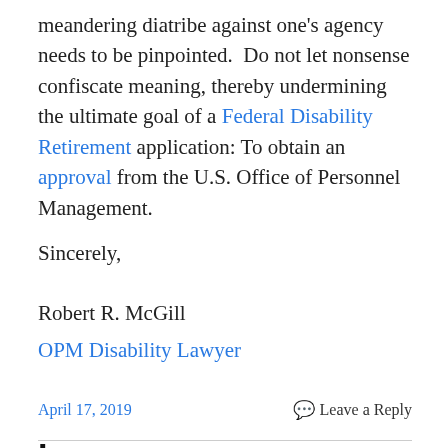meandering diatribe against one's agency needs to be pinpointed.  Do not let nonsense confiscate meaning, thereby undermining the ultimate goal of a Federal Disability Retirement application: To obtain an approval from the U.S. Office of Personnel Management.
Sincerely,
Robert R. McGill
OPM Disability Lawyer
April 17, 2019    Leave a Reply
Lawyer Representation for